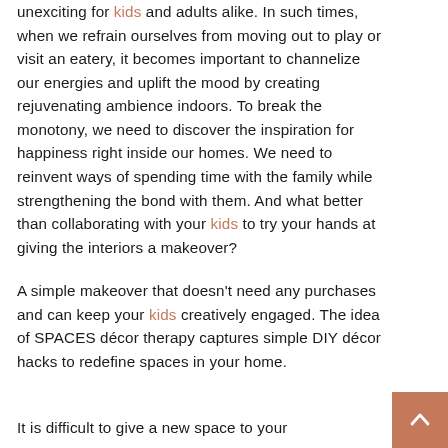unexciting for kids and adults alike. In such times, when we refrain ourselves from moving out to play or visit an eatery, it becomes important to channelize our energies and uplift the mood by creating rejuvenating ambience indoors. To break the monotony, we need to discover the inspiration for happiness right inside our homes. We need to reinvent ways of spending time with the family while strengthening the bond with them. And what better than collaborating with your kids to try your hands at giving the interiors a makeover?
A simple makeover that doesn't need any purchases and can keep your kids creatively engaged. The idea of SPACES décor therapy captures simple DIY décor hacks to redefine spaces in your home.
It is difficult to give a new space to your